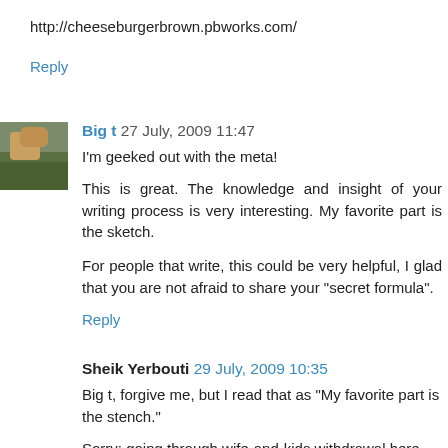http://cheeseburgerbrown.pbworks.com/
Reply
Big t  27 July, 2009 11:47
I'm geeked out with the meta!

This is great. The knowledge and insight of your writing process is very interesting. My favorite part is the sketch.

For people that write, this could be very helpful, I glad that you are not afraid to share your "secret formula".
Reply
Sheik Yerbouti  29 July, 2009 10:35
Big t, forgive me, but I read that as "My favorite part is the stench."

Sorry; going through wife-and-kids withdrawal here, but I